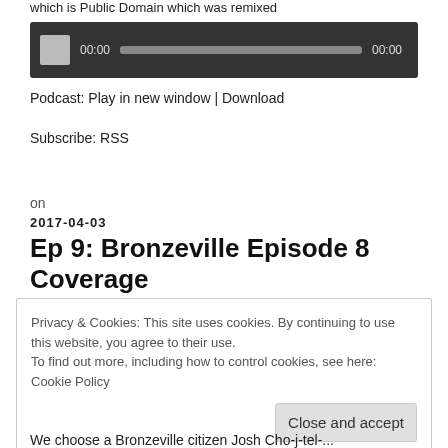which is Public Domain which was remixed
[Figure (other): Audio player widget with play button, progress bar showing 00:00 timestamps on dark background]
Podcast: Play in new window | Download
Subscribe: RSS
on
2017-04-03
Ep 9: Bronzeville Episode 8 Coverage
Privacy & Cookies: This site uses cookies. By continuing to use this website, you agree to their use.
To find out more, including how to control cookies, see here: Cookie Policy
Close and accept
We choose a Bronzeville citizen Josh Cho-j-tel-...